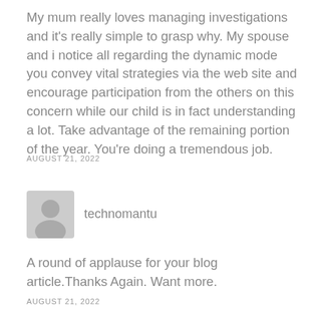My mum really loves managing investigations and it's really simple to grasp why. My spouse and i notice all regarding the dynamic mode you convey vital strategies via the web site and encourage participation from the others on this concern while our child is in fact understanding a lot. Take advantage of the remaining portion of the year. You're doing a tremendous job.
AUGUST 21, 2022
[Figure (illustration): Gray user avatar icon placeholder]
technomantu
A round of applause for your blog article.Thanks Again. Want more.
AUGUST 21, 2022